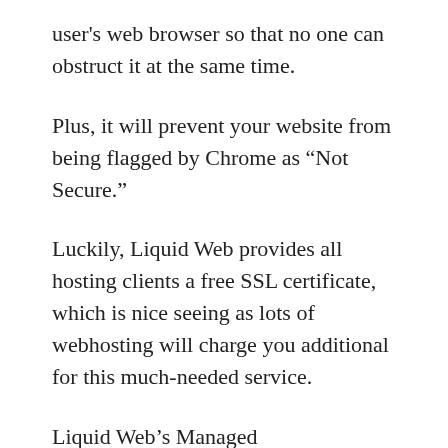user's web browser so that no one can obstruct it at the same time.
Plus, it will prevent your website from being flagged by Chrome as “Not Secure.”
Luckily, Liquid Web provides all hosting clients a free SSL certificate, which is nice seeing as lots of webhosting will charge you additional for this much-needed service.
Liquid Web’s Managed WooCommerce and Managed WordPress prepares immediately featured free Let’s Encrypt SSL for your main domain that you have actually set in the control board when your site goes live or if you rename